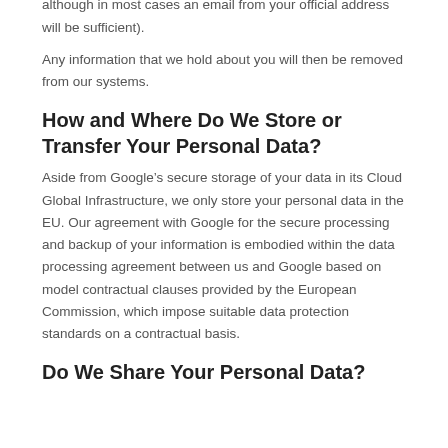reserve the right to ask you for identification in this case, although in most cases an email from your official address will be sufficient).
Any information that we hold about you will then be removed from our systems.
How and Where Do We Store or Transfer Your Personal Data?
Aside from Google’s secure storage of your data in its Cloud Global Infrastructure, we only store your personal data in the EU. Our agreement with Google for the secure processing and backup of your information is embodied within the data processing agreement between us and Google based on model contractual clauses provided by the European Commission, which impose suitable data protection standards on a contractual basis.
Do We Share Your Personal Data?